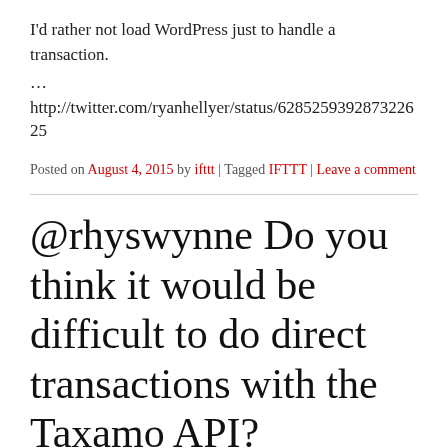I'd rather not load WordPress just to handle a transaction.
…
http://twitter.com/ryanhellyer/status/628525939287322625
Posted on August 4, 2015 by ifttt | Tagged IFTTT | Leave a comment
@rhyswynne Do you think it would be difficult to do direct transactions with the Taxamo API?